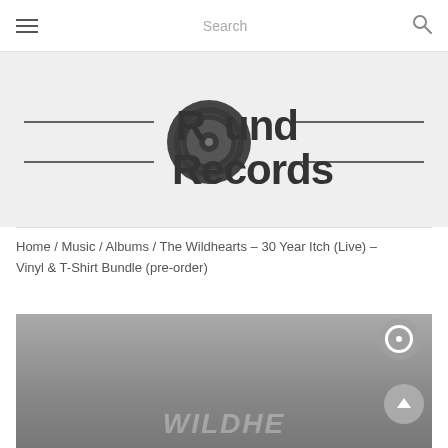≡  Search  🔍
[Figure (logo): Round Records logo with vinyl record graphic and horizontal lines on either side]
Home / Music / Albums / The Wildhearts – 30 Year Itch (Live) – Vinyl & T-Shirt Bundle (pre-order)
[Figure (photo): Product image partially visible at bottom of page showing The Wildhearts 30 Year Itch album artwork]